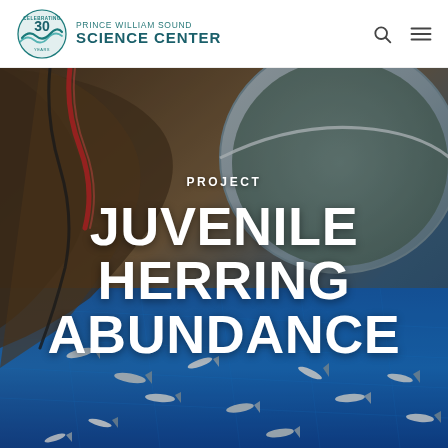Prince William Sound Science Center — Celebrating 30 Years
[Figure (photo): Close-up photo of juvenile herring (small silvery fish) spread across a blue fishing net/tarp, with a large circular metal tank and fishing equipment visible in the background. Red rope and dark fishing gear also visible.]
PROJECT
JUVENILE HERRING ABUNDANCE